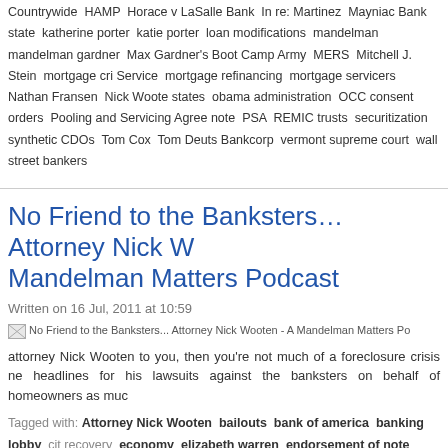Countrywide HAMP Horace v LaSalle Bank In re: Martinez Mayniac Bank state katherine porter katie porter loan modifications mandelman mandelman gardner Max Gardner's Boot Camp Army MERS Mitchell J. Stein mortgage crisis Service mortgage refinancing mortgage servicers Nathan Fransen Nick Wooten states obama administration OCC consent orders Pooling and Servicing Agreement note PSA REMIC trusts securitization synthetic CDOs Tom Cox Tom Deutsche Bankcorp vermont supreme court wall street bankers
No Friend to the Banksters… Attorney Nick Wooten - A Mandelman Matters Podcast
Written on 16 Jul, 2011 at 10:59
[Figure (photo): Image placeholder for No Friend to the Banksters... Attorney Nick Wooten - A Mandelman Matters Podcast]
attorney Nick Wooten to you, then you're not much of a foreclosure crisis news watcher. He makes headlines for his lawsuits against the banksters on behalf of homeowners as much as...
Tagged with: Attorney Nick Wooten bailouts bank of america banking lobby city recovery economy elizabeth warren endorsement of note FDIC Chair Sheila Bair Ben Bernanke foreclosure crisis foreclosures Freddie Mac HAMP Horace v LaSalle Bank jp chase lender processing services loan modifications LPS Making Home Affordable matters martin andelman Max Gardner's Bootcamp MERS ml-implode mortgage securitization NACA Nick Wooten Nick Wooten Alabama O. Max Gardner III agreement president obama PSA SB 94 Treasury Secretary Tim Geithner trial bankers wells fargo bank
Bankers Apoplectic Over Arizona's Republican Senate Passing Chain of Title Bill, 28-2
Written on 01 Feb, 2014 at 03:37